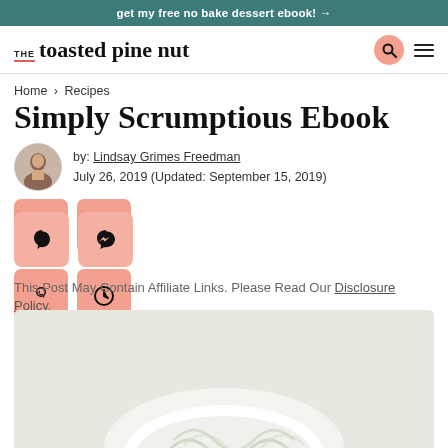get my free no bake dessert ebook! →
THE toasted pine nut
Home > Recipes
Simply Scrumptious Ebook
by: Lindsay Grimes Freedman
July 26, 2019 (Updated: September 15, 2019)
[Figure (other): Social share buttons: Pinterest and comment icons]
This Post May Contain Affiliate Links. Please Read Our Disclosure Policy.
[Figure (photo): Partial photo of a bowl with food, light background]